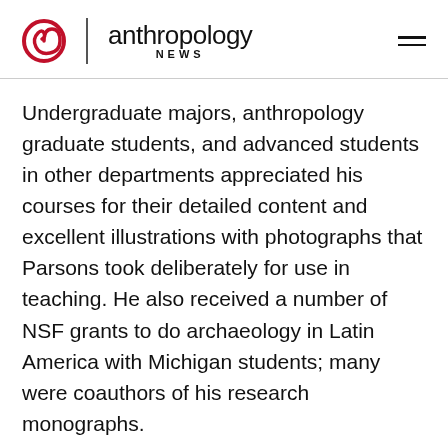anthropology NEWS
Undergraduate majors, anthropology graduate students, and advanced students in other departments appreciated his courses for their detailed content and excellent illustrations with photographs that Parsons took deliberately for use in teaching. He also received a number of NSF grants to do archaeology in Latin America with Michigan students; many were coauthors of his research monographs.
These research accomplishments led the University of Michigan to honor him with its Distinguished Faculty Achievement Award in 2002. In 1998 he was